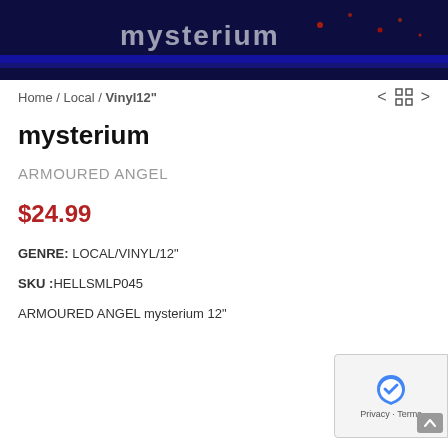[Figure (photo): Dark blue concert/album artwork background with text and red sparkle effects visible at top of page]
Home / Local / Vinyl12"
mysterium
ARMOURED ANGEL
$24.99
GENRE: LOCAL/VINYL/12"
SKU :HELLSMLP045
ARMOURED ANGEL mysterium 12"